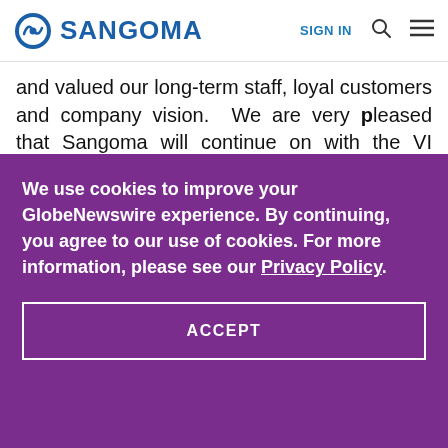SANGOMA | SIGN IN
and valued our long-term staff, loyal customers and company vision.  We are very pleased that Sangoma will continue on with the VI business
We use cookies to improve your GlobeNewswire experience. By continuing, you agree to our use of cookies. For more information, please see our Privacy Policy.
ACCEPT